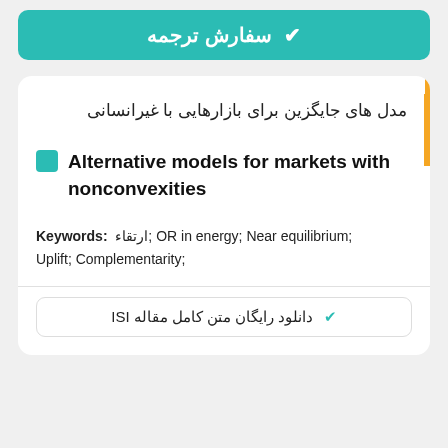✔ سفارش ترجمه
مدل های جایگزین برای بازارهایی با غیرانسانی
Alternative models for markets with nonconvexities
Keywords: ارتقاء; OR in energy; Near equilibrium; Uplift; Complementarity;
✔ دانلود رایگان متن کامل مقاله ISI